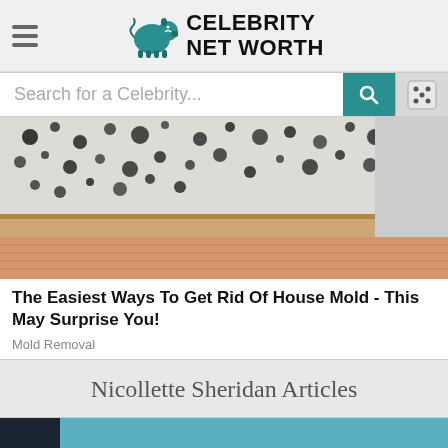Celebrity Net Worth
Search for a Celebrity...
[Figure (photo): Photograph of black mold on white wall corner with wooden baseboard and hardwood floor]
The Easiest Ways To Get Rid Of House Mold - This May Surprise You!
Mold Removal
Nicollette Sheridan Articles
[Figure (photo): Partial view of a blurred image, appears to be a person or scene in teal/blue tones]